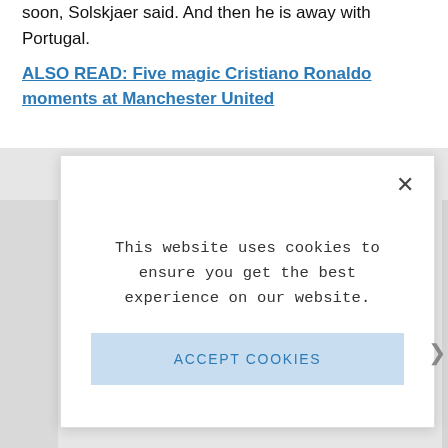soon, Solskjaer said. And then he is away with Portugal.
ALSO READ: Five magic Cristiano Ronaldo moments at Manchester United
[Figure (screenshot): Cookie consent modal dialog with close button (×), message 'This website uses cookies to ensure you get the best experience on our website.', a 'LEARN MORE.' link, and an 'ACCEPT COOKIES' button on a light blue background.]